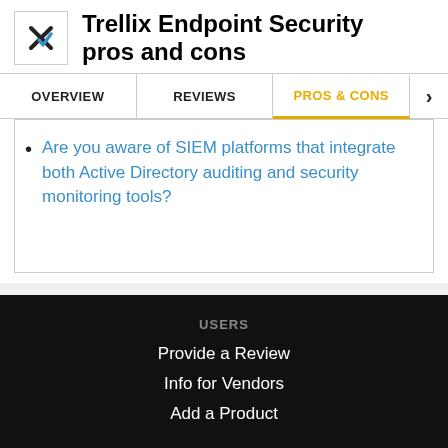Trellix Endpoint Security pros and cons
OVERVIEW | REVIEWS | PROS & CONS
Are you aware of SIEM platforms that integrate both Active Directory auditing and security monitoring tools?
USERS
Provide a Review
Info for Vendors
Add a Product